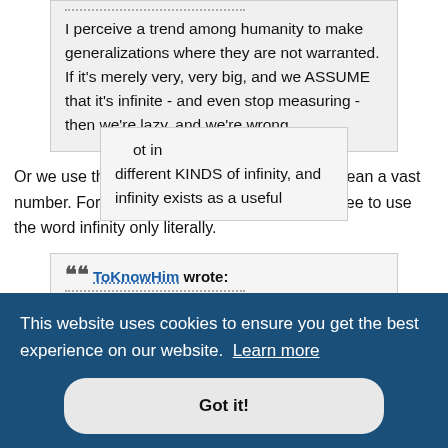I perceive a trend among humanity to make generalizations where they are not warranted. If it's merely very, very big, and we ASSUME that it's infinite - and even stop measuring - then we're lazy, and we're wrong.
Or we use the word infinite metaphorically to mean a vast number. For purposes of this debate, let us agree to use the word infinity only literally.
ToKnowHim wrote: On the other hand, if the theoretical planet were indeed infinite in diameter, we could NEVER measure it. That is
ot in different KINDS of infinity, and infinity exists as a useful
This website uses cookies to ensure you get the best experience on our website. Learn more
Got it!